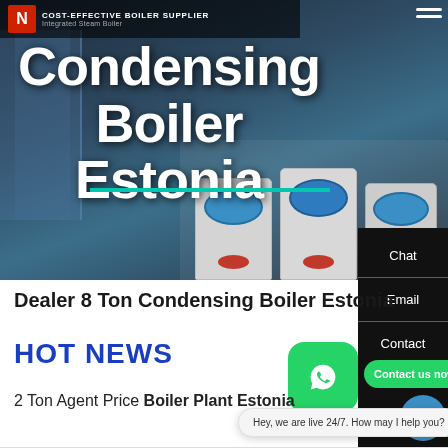[Figure (screenshot): Website hero banner for a boiler supplier showing industrial condensing boilers with dark overlay, company logo and 'COST-EFFECTIVE BOILER SUPPLIER' tagline]
Condensing Boiler Estonia
[Figure (screenshot): Sidebar navigation panel with Chat, Email, and Contact options on dark background]
Dealer 8 Ton Condensing Boiler Estonia
HOT NEWS
[Figure (screenshot): WhatsApp green icon button and 'Contact us now!' green button]
Hey, we are live 24/7. How may I help you?
2 Ton Agent Price Boiler Plant Estonia